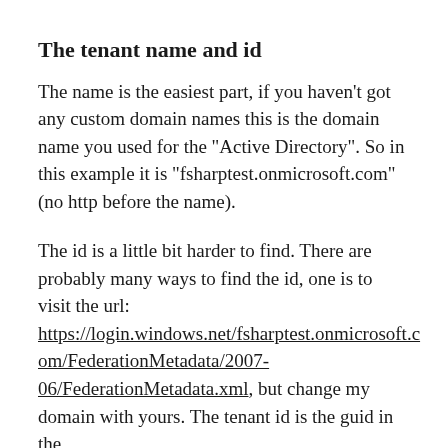The tenant name and id
The name is the easiest part, if you haven't got any custom domain names this is the domain name you used for the "Active Directory". So in this example it is "fsharptest.onmicrosoft.com" (no http before the name).
The id is a little bit harder to find. There are probably many ways to find the id, one is to visit the url: https://login.windows.net/fsharptest.onmicrosoft.com/FederationMetadata/2007-06/FederationMetadata.xml, but change my domain with yours. The tenant id is the guid in the